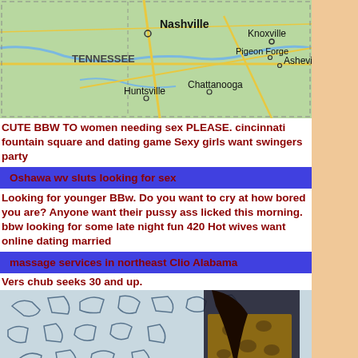[Figure (map): Map showing Tennessee region with cities: Nashville, Knoxville, Pigeon Forge, Asheville, Chattanooga, Huntsville]
CUTE BBW TO women needing sex PLEASE. cincinnati fountain square and dating game Sexy girls want swingers party
Oshawa wv sluts looking for sex
Looking for younger BBw. Do you want to cry at how bored you are? Anyone want their pussy ass licked this morning. bbw looking for some late night fun 420 Hot wives want online dating married
massage services in northeast Clio Alabama
Vers chub seeks 30 and up.
[Figure (photo): Woman in leopard print dress standing in front of wall with shoe illustrations]